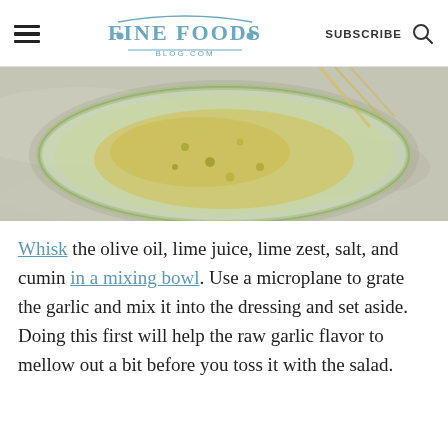FINE FOODS BLOG.COM — SUBSCRIBE
[Figure (photo): Top-down view of a glass mixing bowl containing olive oil, lime juice, lime zest, garlic, and other dressing ingredients, with a whisk partially visible.]
Whisk the olive oil, lime juice, lime zest, salt, and cumin in a mixing bowl. Use a microplane to grate the garlic and mix it into the dressing and set aside. Doing this first will help the raw garlic flavor to mellow out a bit before you toss it with the salad.